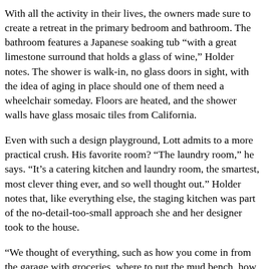With all the activity in their lives, the owners made sure to create a retreat in the primary bedroom and bathroom. The bathroom features a Japanese soaking tub “with a great limestone surround that holds a glass of wine,” Holder notes. The shower is walk-in, no glass doors in sight, with the idea of aging in place should one of them need a wheelchair someday. Floors are heated, and the shower walls have glass mosaic tiles from California.
Even with such a design playground, Lott admits to a more practical crush. His favorite room? “The laundry room,” he says. “It’s a catering kitchen and laundry room, the smartest, most clever thing ever, and so well thought out.” Holder notes that, like everything else, the staging kitchen was part of the no-detail-too-small approach she and her designer took to the house.
“We thought of everything, such as how you come in from the garage with groceries, where to put the mud bench, how you find places for lots of messy shoes that do different things,” she says, then deadpans, “I know how much Larry loves the house. He wants me to leave it to him in my will.” *